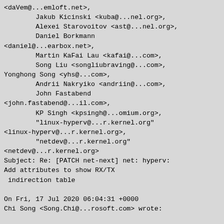<daVem@...emloft.net>,
        Jakub Kicinski <kuba@...nel.org>,
        Alexei Starovoitov <ast@...nel.org>,
        Daniel Borkmann
<daniel@...earbox.net>,
        Martin KaFai Lau <kafai@...com>,
        Song Liu <songliubraving@...com>,
Yonghong Song <yhs@...com>,
        Andrii Nakryiko <andriin@...com>,
        John Fastabend
<john.fastabend@...il.com>,
        KP Singh <kpsingh@...omium.org>,
        "linux-hyperv@...r.kernel.org"
<linux-hyperv@...r.kernel.org>,
        "netdev@...r.kernel.org"
<netdev@...r.kernel.org>
Subject: Re: [PATCH net-next] net: hyperv:
Add attributes to show RX/TX
 indirection table

On Fri, 17 Jul 2020 06:04:31 +0000
Chi Song <Song.Chi@...rosoft.com> wrote:

> The network is observed with low
performance, if TX indirection table is